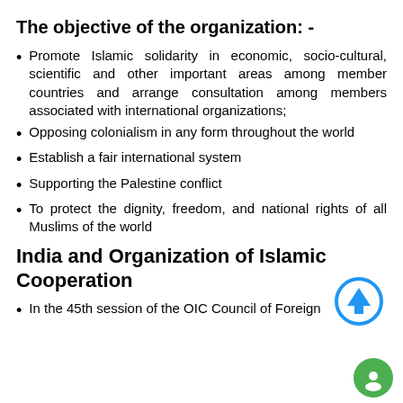The objective of the organization: -
Promote Islamic solidarity in economic, socio-cultural, scientific and other important areas among member countries and arrange consultation among members associated with international organizations;
Opposing colonialism in any form throughout the world
Establish a fair international system
Supporting the Palestine conflict
To protect the dignity, freedom, and national rights of all Muslims of the world
India and Organization of Islamic Cooperation
In the 45th session of the OIC Council of Foreign